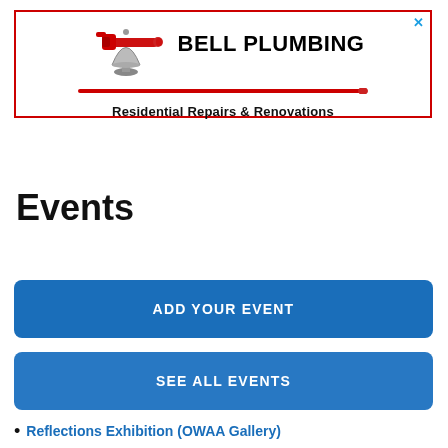[Figure (logo): Bell Plumbing advertisement banner with red pipe wrench logo, bold text 'BELL PLUMBING' and subtitle 'Residential Repairs & Renovations']
Events
ADD YOUR EVENT
SEE ALL EVENTS
Reflections Exhibition (OWAA Gallery)